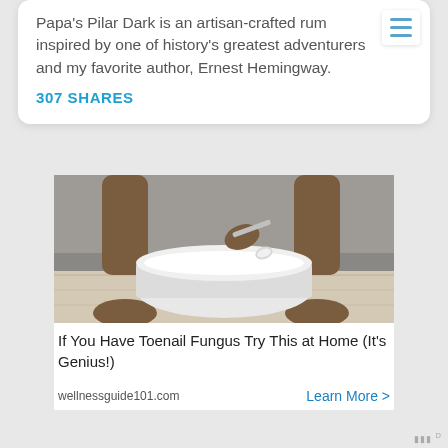Papa's Pilar Dark is an artisan-crafted rum inspired by one of history's greatest adventurers and my favorite author, Ernest Hemingway.
307 SHARES
[Figure (photo): Person's bare feet on a light wood floor, seated on a gray couch, holding a spoon over a white plastic bowl/basin placed between their feet.]
If You Have Toenail Fungus Try This at Home (It's Genius!)
wellnessguide101.com
Learn More >